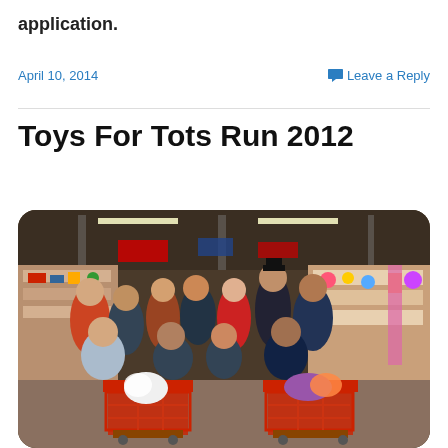application.
April 10, 2014
Leave a Reply
Toys For Tots Run 2012
[Figure (photo): Group of people standing inside a toy store with shopping carts filled with toys. The store has shelves of toys and colorful merchandise visible in the background.]